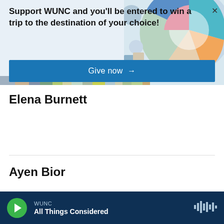Support WUNC and you'll be entered to win a trip to the destination of your choice!
Give now →
Elena Burnett
Ayen Bior
WUNC All Things Considered